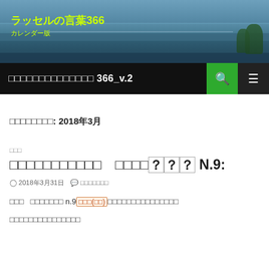[Figure (photo): Website header banner showing a scenic photo of a bridge and river/lake landscape with blue-green tones]
ラッセルの言葉366 カレンダー版
□□□□□□□□□□□□□□ 366_v.2
□□□□□□□□: 2018年3月
□□□
□□□□□□□□□□□　□□□□？？？ N.9:
⏱ 2018年3月31日　💬 □□□□□□□
□□□　□□□□□□□ n.9□□□(□□)□□□□□□□□□□□□□□□
□□□□□□□□□□□□□□□